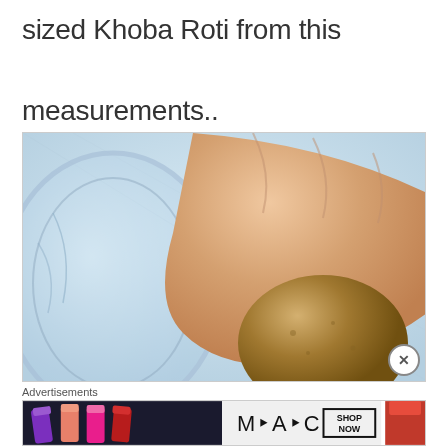sized Khoba Roti from this measurements..
[Figure (photo): A hand holding a round ball of dough over a decorative glass plate, showing the size of the dough ball for making Khoba Roti.]
Advertisements
[Figure (photo): MAC cosmetics advertisement showing lipsticks in purple, coral, and pink colors with 'MAC' logo and 'SHOP NOW' button, and a red lipstick on the right.]